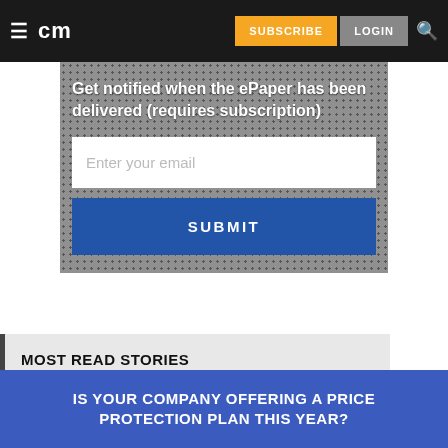cm — SUBSCRIBE  LOGIN
Get notified when the ePaper has been delivered (requires subscription)
[Figure (screenshot): Email input field with placeholder text 'Enter your email']
SUBMIT
MOST READ STORIES
[Figure (infographic): Blue advertisement banner reading: IS YOUR COMPANY OFFERING A PRICE PROTECTION PLAN THIS YEAR?]